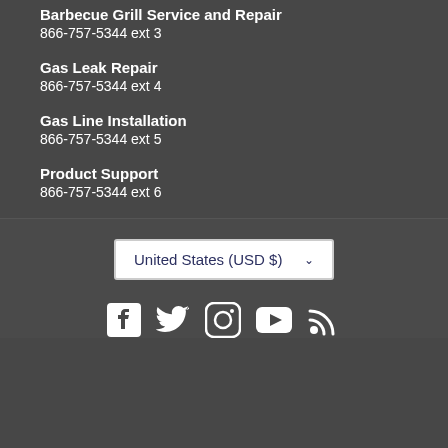Barbecue Grill Service and Repair
866-757-5344 ext 3
Gas Leak Repair
866-757-5344 ext 4
Gas Line Installation
866-757-5344 ext 5
Product Support
866-757-5344 ext 6
United States (USD $)
[Figure (infographic): Social media icons: Facebook, Twitter, Instagram, YouTube, RSS]